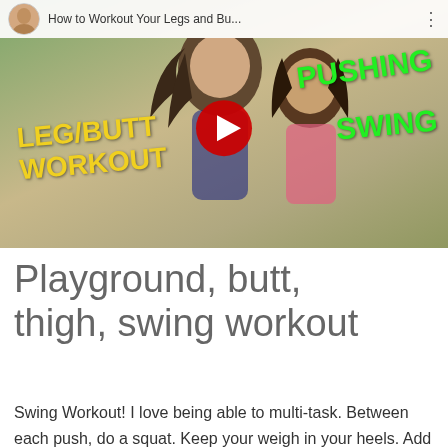[Figure (screenshot): YouTube video thumbnail showing two girls with text overlays 'LEG/BUTT WORKOUT', 'PUSHING', 'SWING' in yellow and green handwritten style. YouTube play button in center. Video title bar at top reads 'How to Workout Your Legs and Bu...']
Playground, butt, thigh, swing workout
Swing Workout! I love being able to multi-task. Between each push, do a squat. Keep your weigh in your heels. Add